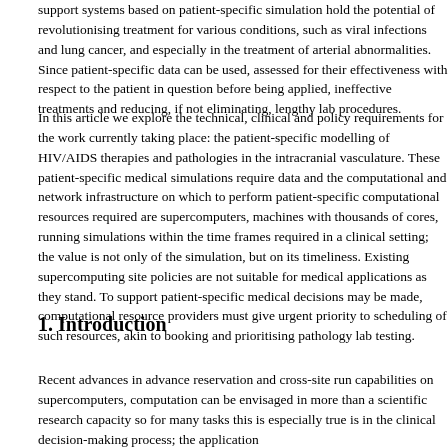Patient-specific medicine is the tailoring of medical treatment based on the patient, support systems based on patient-specific simulation hold the potential of revolutionising treatment for various conditions, such as viral infections and lung cancer, and especially in the treatment of arterial abnormalities. Since patient-specific data can be used, assessed for their effectiveness with respect to the patient in question before being applied, ineffective treatments and reducing, if not eliminating, lengthy lab procedures.
In this article we explore the technical, clinical and policy requirements for the work currently taking place: the patient-specific modelling of HIV/AIDS therapies and pathologies in the intracranial vasculature. These patient-specific medical simulations require data and the computational and network infrastructure on which to perform patient-specific computational resources required are supercomputers, machines with thousands of cores, running simulations within the time frames required in a clinical setting; the value is not only of the simulation, but on its timeliness. Existing supercomputing site policies are not suitable for medical applications as they stand. To support patient-specific medical decisions may be made, computational resource providers must give urgent priority to scheduling of such resources, akin to booking and prioritising pathology lab testing.
1. Introduction
Recent advances in advance reservation and cross-site run capabilities on supercomputers, computation can be envisaged in more than a scientific research capacity so for many tasks this is especially true is in the clinical decision-making process; the application